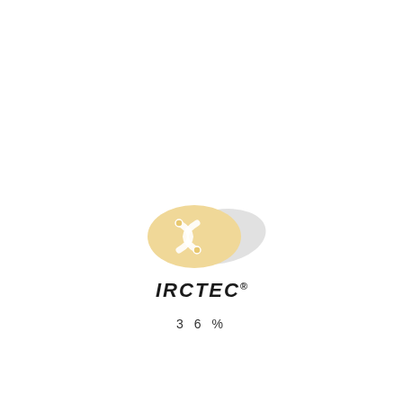[Figure (logo): IRCTEC logo: an oval shape with a yellow/cream colored bean-like emblem on the left and a grey shadow sweep on the right, with the text IRCTEC® in bold italic below]
3 6 %